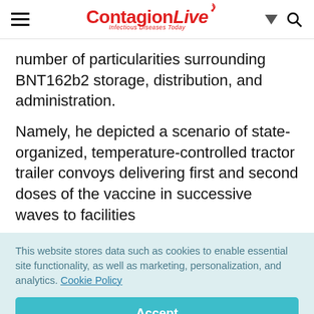ContagionLive — Infectious Diseases Today
number of particularities surrounding BNT162b2 storage, distribution, and administration.
Namely, he depicted a scenario of state-organized, temperature-controlled tractor trailer convoys delivering first and second doses of the vaccine in successive waves to facilities
This website stores data such as cookies to enable essential site functionality, as well as marketing, personalization, and analytics. Cookie Policy
Accept
Deny